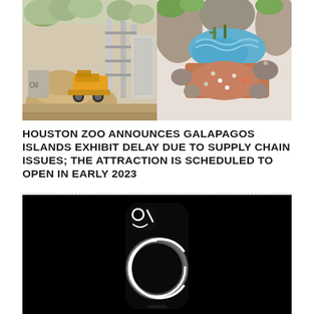[Figure (photo): Two side-by-side photos: left shows a construction site with scaffolding, heavy equipment/bulldozer, and piles of sand/dirt; right shows an aerial view of a completed zoo exhibit with rocky landscape, blue water feature, and visitors walking around.]
HOUSTON ZOO ANNOUNCES GALAPAGOS ISLANDS EXHIBIT DELAY DUE TO SUPPLY CHAIN ISSUES; THE ATTRACTION IS SCHEDULED TO OPEN IN EARLY 2023
[Figure (photo): A phone case with glowing white neon-style circular and curved light elements against a black background, showing the back of a smartphone case design.]